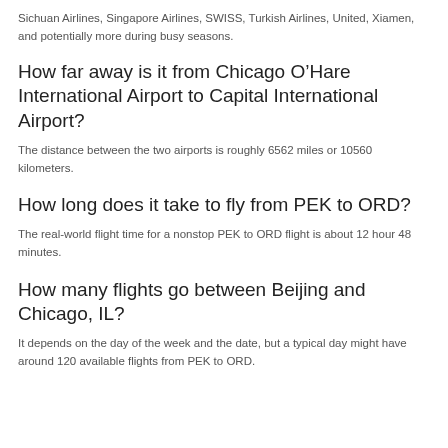Sichuan Airlines, Singapore Airlines, SWISS, Turkish Airlines, United, Xiamen, and potentially more during busy seasons.
How far away is it from Chicago O’Hare International Airport to Capital International Airport?
The distance between the two airports is roughly 6562 miles or 10560 kilometers.
How long does it take to fly from PEK to ORD?
The real-world flight time for a nonstop PEK to ORD flight is about 12 hour 48 minutes.
How many flights go between Beijing and Chicago, IL?
It depends on the day of the week and the date, but a typical day might have around 120 available flights from PEK to ORD.